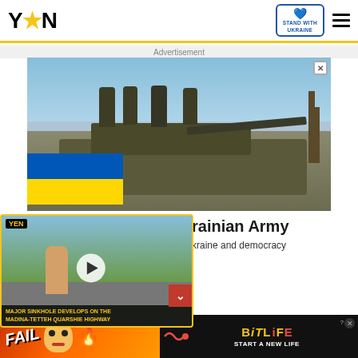[Figure (logo): YEN logo with yellow star]
[Figure (logo): Stand With Ukraine badge with heart]
Advertisement
[Figure (photo): Soldiers standing on a military tank, Ukrainian flag overlay in bottom left corner]
rainian Army
kraine and democracy
[Figure (screenshot): YEN video player showing a reporter at a road with text: MAJOR SINKHOLE DEVELOPS ON THE MADINA-TETTEH QUARSHIE HIGHWAY]
ys, sitting in a pew at the
[Figure (infographic): BitLife advertisement: FAIL text with cartoon, BitLife logo, START A NEW LIFE text on dark background]